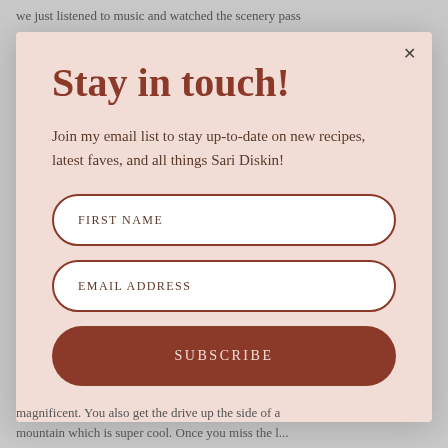we just listened to music and watched the scenery pass
Stay in touch!
Join my email list to stay up-to-date on new recipes, latest faves, and all things Sari Diskin!
FIRST NAME
EMAIL ADDRESS
SUBSCRIBE
magnificent. You also get the drive up the side of a mountain which is super cool. Once you miss the l...